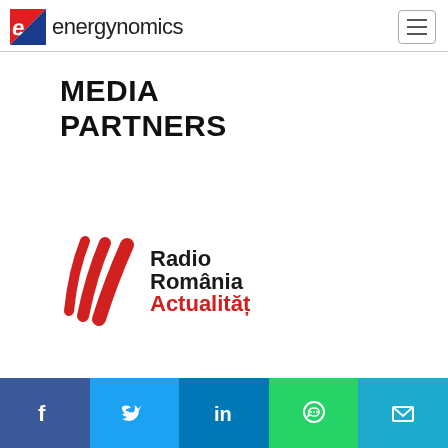energynomics
MEDIA PARTNERS
[Figure (logo): Radio România Actualități logo — red diagonal wave stripes on left, black text 'Radio România' and red text 'Actualități' on right]
Social share bar: Facebook, Twitter, LinkedIn, WhatsApp, Email